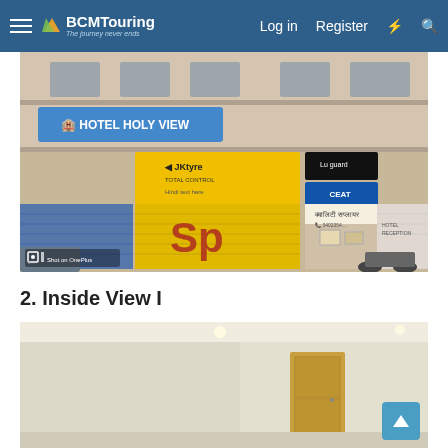BCMTouring — Log in   Register
[Figure (photo): Street-level photo of Hotel Holy View building front with JK Tyre, Lu guard, and CEAT tyre shop signboards, shuttered shops with Hindi text, motorcycles parked outside. Shot on OnePlus watermark visible.]
2. Inside View I
[Figure (photo): Interior room photo showing plain cream-colored walls with a wooden door visible on the right side and bright overhead lighting.]